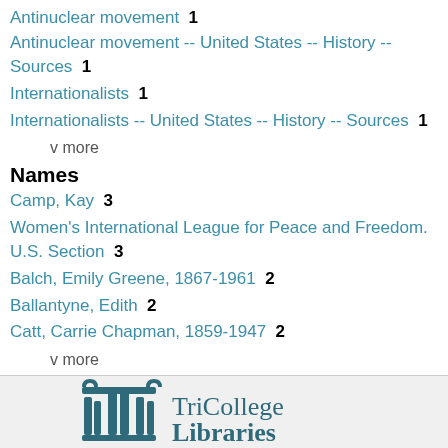Antinuclear movement  1
Antinuclear movement -- United States -- History -- Sources  1
Internationalists  1
Internationalists -- United States -- History -- Sources  1
v more
Names
Camp, Kay  3
Women's International League for Peace and Freedom. U.S. Section  3
Balch, Emily Greene, 1867-1961  2
Ballantyne, Edith  2
Catt, Carrie Chapman, 1859-1947  2
v more
[Figure (logo): TriCollege Libraries logo with stylized column/pillar icon]